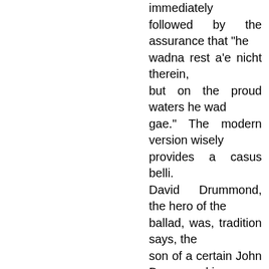immediately followed by the assurance that "he wadna rest a'e nicht therein, but on the proud waters he wad gae." The modern version wisely provides a casus belli. David Drummond, the hero of the ballad, was, tradition says, the son of a certain John Drummond in Kercock, and that the heroine was named Jeanie Low, or Gow, and was daughter of the joiner of the then laird of Ballathy — hence her acquaintance with the fatal augur. Tradition further tells that the "lass of Ballathy toun" had no sooner "bored the coble in seven parts" than she relented the cruel deed